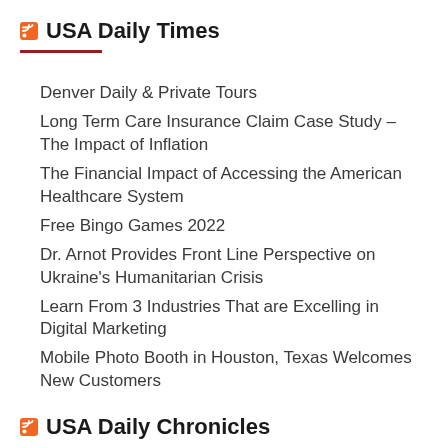USA Daily Times
Denver Daily & Private Tours
Long Term Care Insurance Claim Case Study – The Impact of Inflation
The Financial Impact of Accessing the American Healthcare System
Free Bingo Games 2022
Dr. Arnot Provides Front Line Perspective on Ukraine's Humanitarian Crisis
Learn From 3 Industries That are Excelling in Digital Marketing
Mobile Photo Booth in Houston, Texas Welcomes New Customers
USA Daily Chronicles